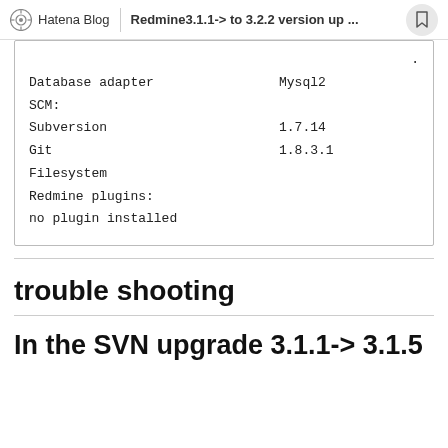Hatena Blog | Redmine3.1.1-> to 3.2.2 version up ...
.
  Database adapter                    Mysql2
SCM:
  Subversion                          1.7.14
  Git                                 1.8.3.1
  Filesystem
Redmine plugins:
  no plugin installed
trouble shooting
In the SVN upgrade 3.1.1-> 3.1.5